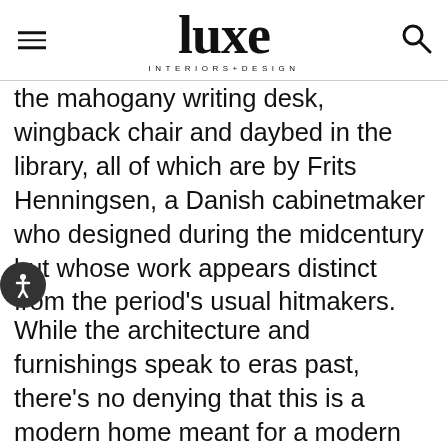luxe INTERIORS+DESIGN
the mahogany writing desk, wingback chair and daybed in the library, all of which are by Frits Henningsen, a Danish cabinetmaker who designed during the midcentury but whose work appears distinct from the period’s usual hitmakers.
While the architecture and furnishings speak to eras past, there’s no denying that this is a modern home meant for a modern family. “Alexander’s style has a richness to it, but it’s very livable, not frivolous or fussy,” says the husband of Doherty’s ability to balance chic with easy, sophistication with comfort. Adds the designer, “The idea here is simply a very elegant